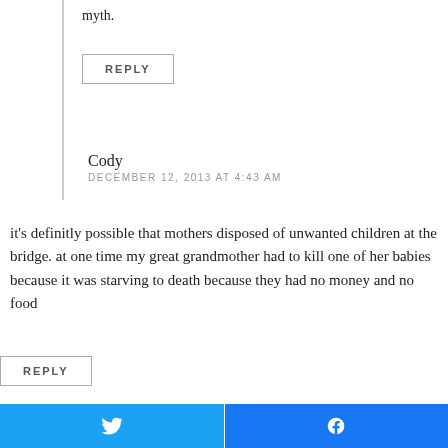myth.
REPLY
Cody
DECEMBER 12, 2013 AT 4:43 AM
it's definitly possible that mothers disposed of unwanted children at the bridge. at one time my great grandmother had to kill one of her babies because it was starving to death because they had no money and no food
REPLY